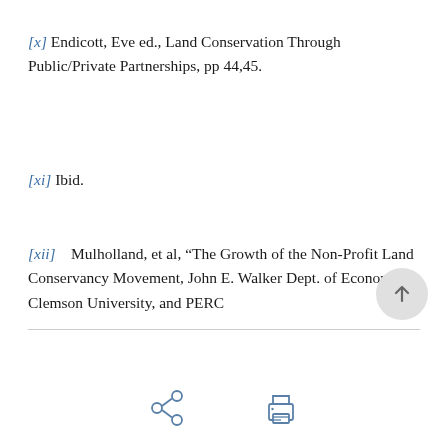[x] Endicott, Eve ed., Land Conservation Through Public/Private Partnerships, pp 44,45.
[xi] Ibid.
[xii]   Mulholland, et al, “The Growth of the Non-Profit Land Conservancy Movement, John E. Walker Dept. of Economics, Clemson University, and PERC